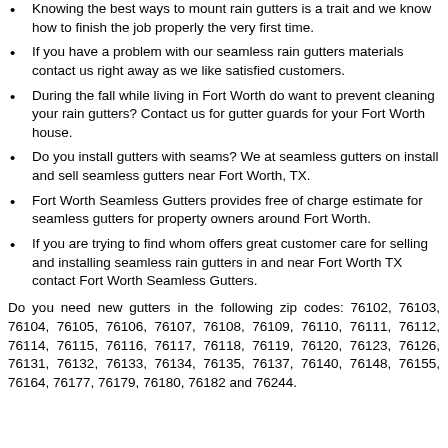Knowing the best ways to mount rain gutters is a trait and we know how to finish the job properly the very first time.
If you have a problem with our seamless rain gutters materials contact us right away as we like satisfied customers.
During the fall while living in Fort Worth do want to prevent cleaning your rain gutters? Contact us for gutter guards for your Fort Worth house.
Do you install gutters with seams? We at seamless gutters on install and sell seamless gutters near Fort Worth, TX.
Fort Worth Seamless Gutters provides free of charge estimate for seamless gutters for property owners around Fort Worth.
If you are trying to find whom offers great customer care for selling and installing seamless rain gutters in and near Fort Worth TX contact Fort Worth Seamless Gutters.
Do you need new gutters in the following zip codes: 76102, 76103, 76104, 76105, 76106, 76107, 76108, 76109, 76110, 76111, 76112, 76114, 76115, 76116, 76117, 76118, 76119, 76120, 76123, 76126, 76131, 76132, 76133, 76134, 76135, 76137, 76140, 76148, 76155, 76164, 76177, 76179, 76180, 76182 and 76244.